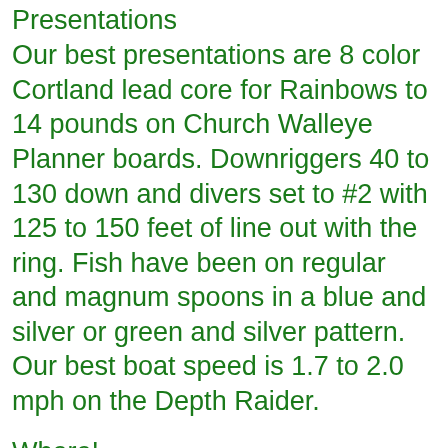Presentations
Our best presentations are 8 color Cortland lead core for Rainbows to 14 pounds on Church Walleye Planner boards. Downriggers 40 to 130 down and divers set to #2 with 125 to 150 feet of line out with the ring. Fish have been on regular and magnum spoons in a blue and silver or green and silver pattern. Our best boat speed is 1.7 to 2.0 mph on the Depth Raider.
Where!
Cold water is out over 100 feet of water 80 feet and down. Set up in 100 feet and troll east. Whitefish Bay is the shortest distance to deep water. Harbor fishing is turning on and on lumpy days you will find big Chinook on plugs and spoons. Out in front of the water filtration plant in 60 feet of water is a good option for small boat anglers. The water is warmer in 60